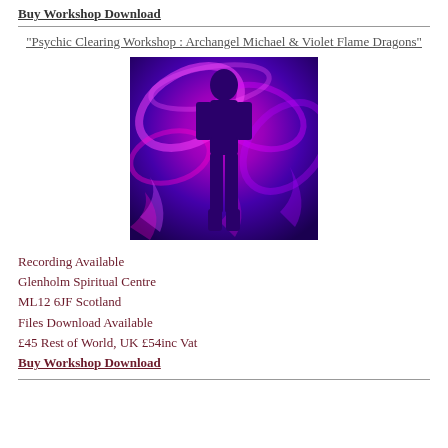Buy Workshop Download
“Psychic Clearing Workshop : Archangel Michael & Violet Flame Dragons”
[Figure (illustration): A dark human silhouette standing against a vivid purple, blue, and magenta swirling background with abstract flame-like patterns]
Recording Available
Glenholm Spiritual Centre
ML12 6JF Scotland
Files Download Available
£45 Rest of World, UK £54inc Vat
Buy Workshop Download